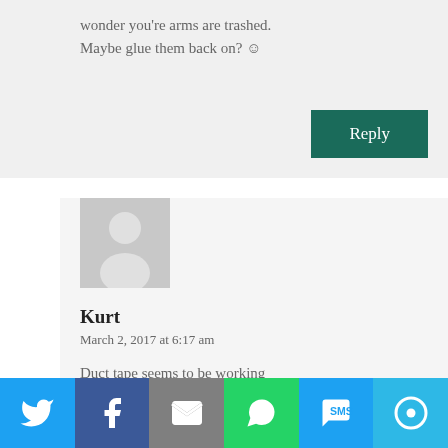wonder you're arms are trashed. Maybe glue them back on? ☺
Reply
[Figure (illustration): Generic user avatar placeholder with grey background and white silhouette figure]
Kurt
March 2, 2017 at 6:17 am
Duct tape seems to be working
[Figure (infographic): Social sharing bar with Twitter, Facebook, Email, WhatsApp, SMS, and More buttons]